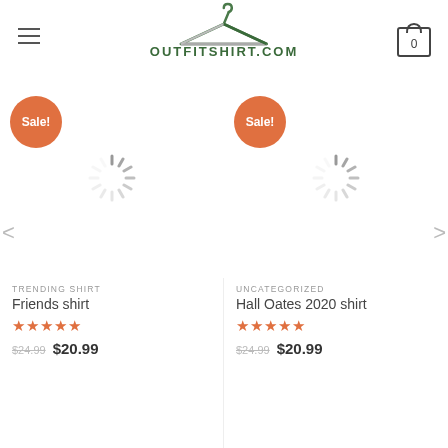OUTFITSHIRT.COM
Sale!
[Figure (other): Loading spinner / product image placeholder for Friends shirt]
TRENDING SHIRT
Friends shirt
★★★★★
$24.99  $20.99
Sale!
[Figure (other): Loading spinner / product image placeholder for Hall Oates 2020 shirt]
UNCATEGORIZED
Hall Oates 2020 shirt
★★★★★
$24.99  $20.99